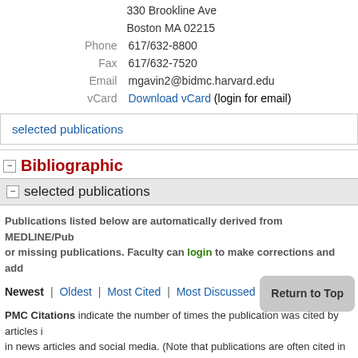330 Brookline Ave
Boston MA 02215
Phone  617/632-8800
Fax  617/632-7520
Email  mgavin2@bidmc.harvard.edu
vCard  Download vCard (login for email)
selected publications
Bibliographic
selected publications
Publications listed below are automatically derived from MEDLINE/Pub or missing publications. Faculty can login to make corrections and add
Newest | Oldest | Most Cited | Most Discussed | Timeline | Field
PMC Citations indicate the number of times the publication was cited by articles in news articles and social media. (Note that publications are often cited in addition National Library of Medicine (NLM) classifies the publica ght no are based on the publication type and the MeSH terms N plica not in PubMed) might not yet be assigned Field or Translation tags.) Click a Field c